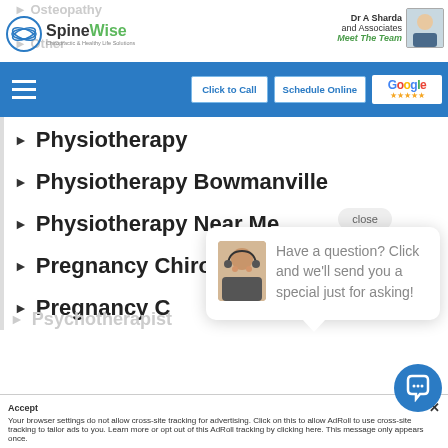[Figure (screenshot): SpineWise website navigation menu showing physiotherapy and pregnancy chiropractic items, with a chat popup overlay, Google reviews badge, and cookie consent bar]
Physiotherapy
Physiotherapy Bowmanville
Physiotherapy Near Me
Pregnancy Chiropractor
Pregnancy C...
Pregnancy M...
PROADJUSTER
Have a question? Click and we'll send you a special just for asking!
close
Your browser settings do not allow cross-site tracking for advertising. Click on this to allow AdRoll to use cross-site tracking to tailor ads to you. Learn more or opt out of this AdRoll tracking by clicking here. This message only appears once.